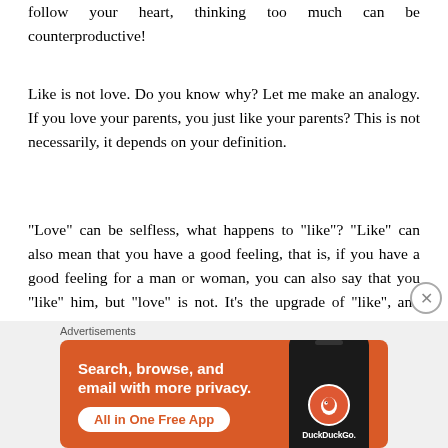follow your heart, thinking too much can be counterproductive!
Like is not love. Do you know why? Let me make an analogy. If you love your parents, you just like your parents? This is not necessarily, it depends on your definition.
“Love” can be selfless, what happens to “like”? “Like” can also mean that you have a good feeling, that is, if you have a good feeling for a man or woman, you can also say that you “like” him, but “love” is not. It’s the upgrade of “like”, and only when you like it, there will be love. It can be said that this is different.
Advertisements
[Figure (screenshot): DuckDuckGo advertisement banner with orange background, text 'Search, browse, and email with more privacy. All in One Free App' with a phone graphic showing DuckDuckGo logo]